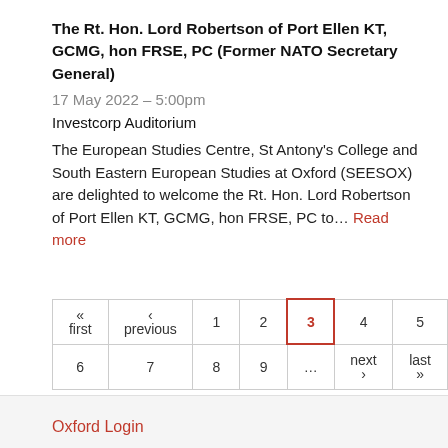The Rt. Hon. Lord Robertson of Port Ellen KT, GCMG, hon FRSE, PC (Former NATO Secretary General)
17 May 2022 – 5:00pm
Investcorp Auditorium
The European Studies Centre, St Antony's College and South Eastern European Studies at Oxford (SEESOX) are delighted to welcome the Rt. Hon. Lord Robertson of Port Ellen KT, GCMG, hon FRSE, PC to... Read more
| « first | ‹ previous | 1 | 2 | 3 | 4 | 5 |
| 6 | 7 | 8 | 9 | ... | next › | last » |
Oxford Login